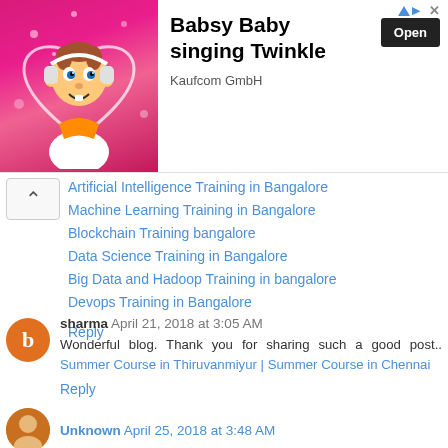[Figure (screenshot): Advertisement banner for 'Babsy Baby singing Twinkle' by Kaufcom GmbH with an Open button, showing a cartoon baby on pink background]
Artificial Intelligence Training in Bangalore
Machine Learning Training in Bangalore
Blockchain Training bangalore
Data Science Training in Bangalore
Big Data and Hadoop Training in bangalore
Devops Training in Bangalore
Reply
sharma April 21, 2018 at 3:05 AM
Wonderful blog. Thank you for sharing such a good post.. Summer Course in Thiruvanmiyur | Summer Course in Chennai
Reply
Unknown April 25, 2018 at 3:48 AM